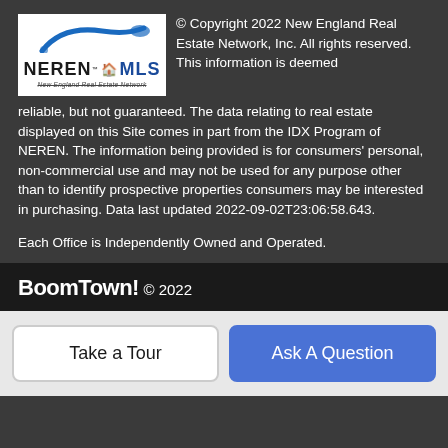[Figure (logo): NEREN MLS - New England Real Estate Network logo, white background with blue arc and house icon]
© Copyright 2022 New England Real Estate Network, Inc. All rights reserved. This information is deemed reliable, but not guaranteed. The data relating to real estate displayed on this Site comes in part from the IDX Program of NEREN. The information being provided is for consumers' personal, non-commercial use and may not be used for any purpose other than to identify prospective properties consumers may be interested in purchasing. Data last updated 2022-09-02T23:06:58.643.
Each Office is Independently Owned and Operated.
BoomTown! © 2022
Take a Tour
Ask A Question